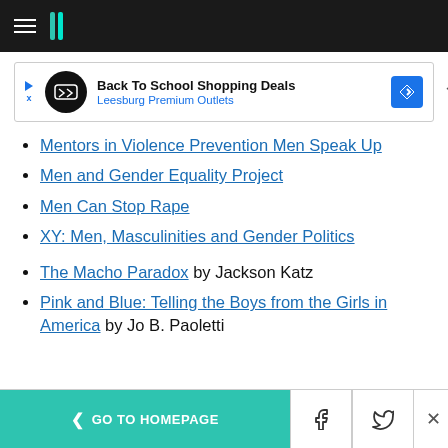HuffPost navigation header
[Figure (other): Advertisement banner: Back To School Shopping Deals - Leesburg Premium Outlets]
Mentors in Violence Prevention Men Speak Up
Men and Gender Equality Project
Men Can Stop Rape
XY: Men, Masculinities and Gender Politics
The Macho Paradox by Jackson Katz
Pink and Blue: Telling the Boys from the Girls in America by Jo B. Paoletti
GO TO HOMEPAGE | Facebook | Twitter | Close